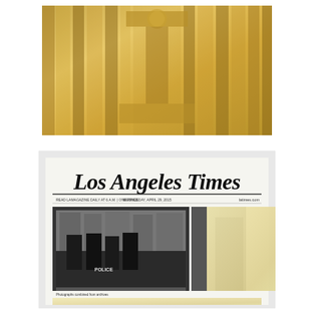[Figure (illustration): Gold/brass-colored artwork with vertical stripes and a circular element at top center, forming an 'i' or column-like abstract shape. Textured gold leaf surface with darker stripe patterns.]
[Figure (photo): Los Angeles Times newspaper front page dated Wednesday, April 29, 2015, showing front page with masthead 'Los Angeles Times' in blackletter font and two photographs: left shows riot police in Baltimore streets, right shows a young Black child looking around a column. A rectangular gold/cream colored patch overlays the right portion of the page, replacing some text content.]